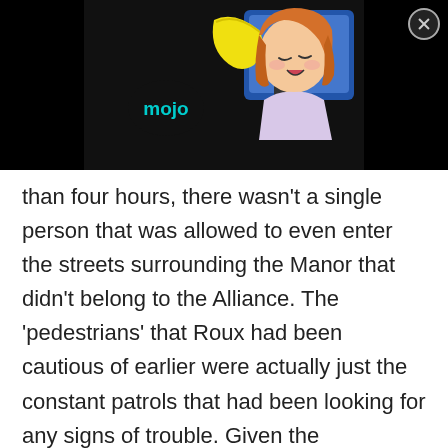[Figure (illustration): Anime-style girl with orange/red hair singing into a microphone, holding a yellow object. A 'mojo' watermark logo is visible. The image is centered on a black background bar.]
than four hours, there wasn't a single person that was allowed to even enter the streets surrounding the Manor that didn't belong to the Alliance. The 'pedestrians' that Roux had been cautious of earlier were actually just the constant patrols that had been looking for any signs of trouble. Given the thousands of people that were mobilized to ensure things ran smoothly, it was nearly impossible to even find an opportunity to interfere with the wedding